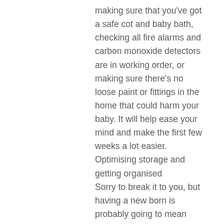making sure that you've got a safe cot and baby bath, checking all fire alarms and carbon monoxide detectors are in working order, or making sure there's no loose paint or fittings in the home that could harm your baby. It will help ease your mind and make the first few weeks a lot easier.
Optimising storage and getting organised
Sorry to break it to you, but having a new born is probably going to mean your house isn't as tidy as you want it to be for a while. Getting your home tidy and organised before the arrival can help prevent stress in the first few weeks. To prepare for the long term, optimising the space you've got with fitted wardrobes can really help. They can utilise your space, provide much needed extra storage for baby's things, mean less cleaning so less stress, and